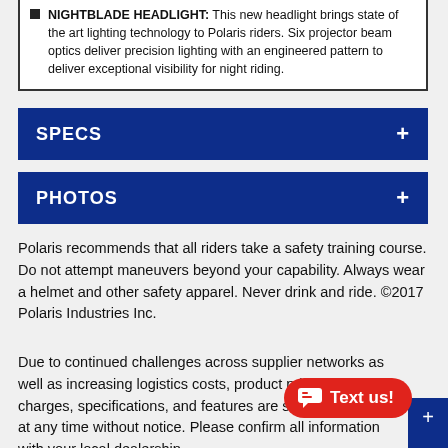NIGHTBLADE HEADLIGHT: This new headlight brings state of the art lighting technology to Polaris riders. Six projector beam optics deliver precision lighting with an engineered pattern to deliver exceptional visibility for night riding.
SPECS
PHOTOS
Polaris recommends that all riders take a safety training course. Do not attempt maneuvers beyond your capability. Always wear a helmet and other safety apparel. Never drink and ride. ©2017 Polaris Industries Inc.
Due to continued challenges across supplier networks as well as increasing logistics costs, product pricing, freight charges, specifications, and features are subject to change at any time without notice. Please confirm all information with your local dealership.